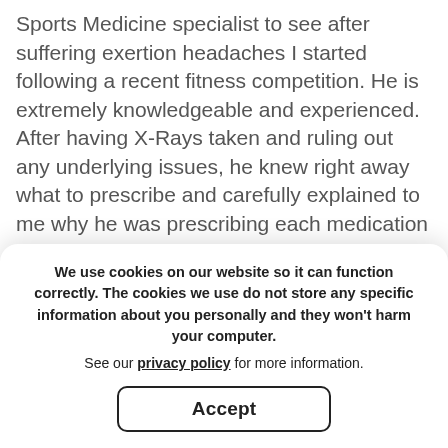Sports Medicine specialist to see after suffering exertion headaches I started following a recent fitness competition. He is extremely knowledgeable and experienced. After having X-Rays taken and ruling out any underlying issues, he knew right away what to prescribe and carefully explained to me why he was prescribing each medication and wrote his email on his business card to reach out to him if I had any follow up questions. He was very friendly and I probably didn't have a total wait period of more than 5 minutes for all my combined time in the lobby, waiting on the X-Ray technician, waiting on the do... paperwork for my initial visit was not burdensome either. It took less than 5 minutes. I'm actually going to see about switching and making him my primary care physician after this visit. I scheduled my... Zoodo... the after midnight the night before my morning. Some places in the
We use cookies on our website so it can function correctly. The cookies we use do not store any specific information about you personally and they won't harm your computer.

See our privacy policy for more information.
Accept